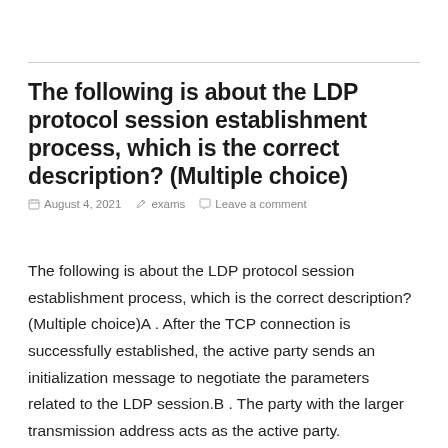The following is about the LDP protocol session establishment process, which is the correct description? (Multiple choice)
August 4, 2021   exams   Leave a comment
The following is about the LDP protocol session establishment process, which is the correct description? (Multiple choice)A . After the TCP connection is successfully established, the active party sends an initialization message to negotiate the parameters related to the LDP session.B . The party with the larger transmission address acts as the active party.